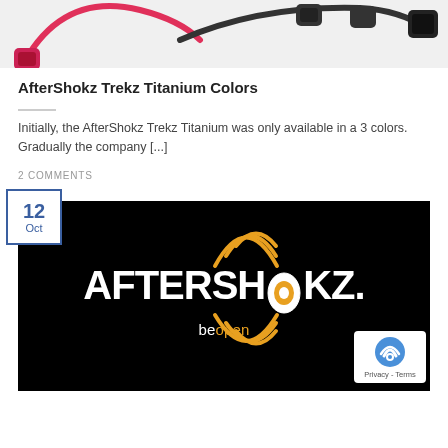[Figure (photo): Partial photo of AfterShokz Trekz Titanium headphones in multiple colors (pink/red and black visible) on white background]
AfterShokz Trekz Titanium Colors
Initially, the AfterShokz Trekz Titanium was only available in a 3 colors. Gradually the company [...]
2 COMMENTS
[Figure (logo): AfterShokz logo on black background with orange sound wave graphic around the O. Below reads 'beopen' in white and orange text. Date badge shows '12 Oct' in blue on white. reCAPTCHA badge in bottom right corner showing Privacy - Terms.]